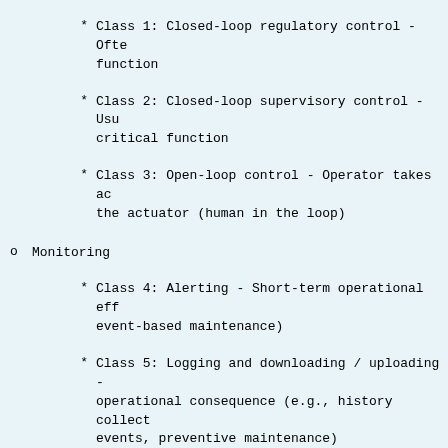* Class 1: Closed-loop regulatory control - Ofte function
* Class 2: Closed-loop supervisory control - Usu critical function
* Class 3: Open-loop control - Operator takes ac the actuator (human in the loop)
o Monitoring
* Class 4: Alerting - Short-term operational eff event-based maintenance)
* Class 5: Logging and downloading / uploading - operational consequence (e.g., history collect events, preventive maintenance)
Safety-critical functions effect the basic safety in plant. These normally dormant functions kick in onl